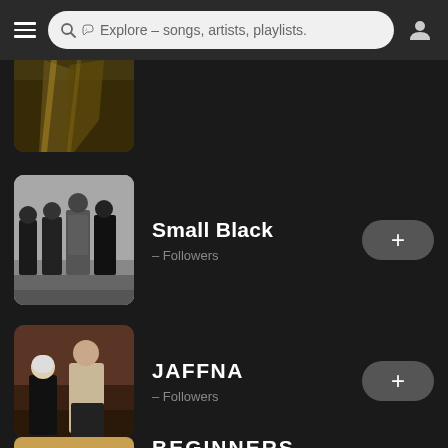Explore – songs, artists, playlists.
[Figure (photo): Partially visible album/artist thumbnail at top of scrollable list]
[Figure (photo): Black and white photo of the band Small Black – four members standing against a wall]
Small Black
– Followers
[Figure (photo): Photo of JAFFNA – two people standing in a reddish indoor space]
JAFFNA
– Followers
BEGINNERS